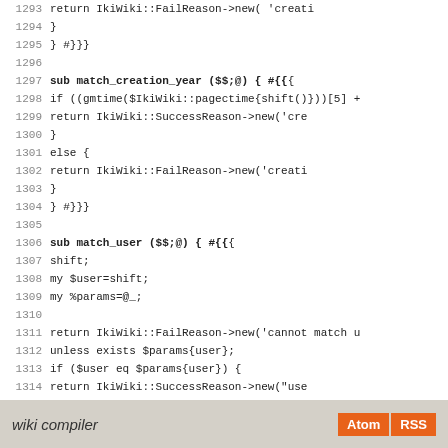Source code listing lines 1293-1321
wiki compiler  Atom RSS